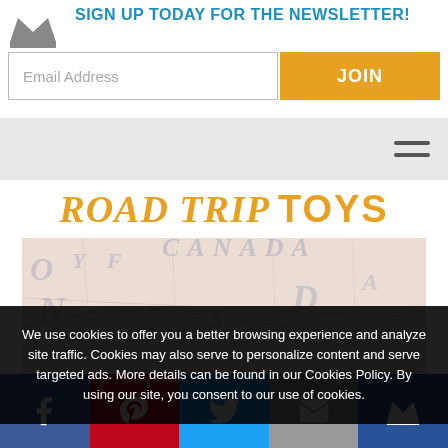SIGN UP TODAY FOR THE NEWSLETTER!
Email Address
JOIN
ROAD TRIP TOYS
[Figure (photo): A toy car/caravan on a road map background, representing Road Trip Toys]
We use cookies to offer you a better browsing experience and analyze site traffic. Cookies may also serve to personalize content and serve targeted ads. More details can be found in our Cookies Policy. By using our site, you consent to our use of cookies.